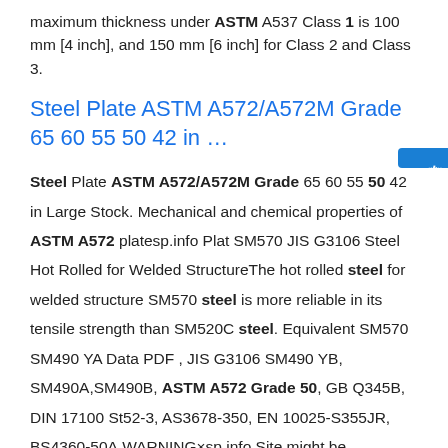maximum thickness under ASTM A537 Class 1 is 100 mm [4 inch], and 150 mm [6 inch] for Class 2 and Class 3.
Steel Plate ASTM A572/A572M Grade 65 60 55 50 42 in …
Steel Plate ASTM A572/A572M Grade 65 60 55 50 42 in Large Stock. Mechanical and chemical properties of ASTM A572 platesp.info Plat SM570 JIS G3106 Steel Hot Rolled for Welded StructureThe hot rolled steel for welded structure SM570 steel is more reliable in its tensile strength than SM520C steel. Equivalent SM570 SM490 YA Data PDF , JIS G3106 SM490 YB, SM490A,SM490B, ASTM A572 Grade 50, GB Q345B, DIN 17100 St52-3, AS3678-350, EN 10025-S355JR, BS4360-50A,WARNING×sp.info Site might be dangerousWe suggest you choose another result. If you continue to this site, it could download malicious software that